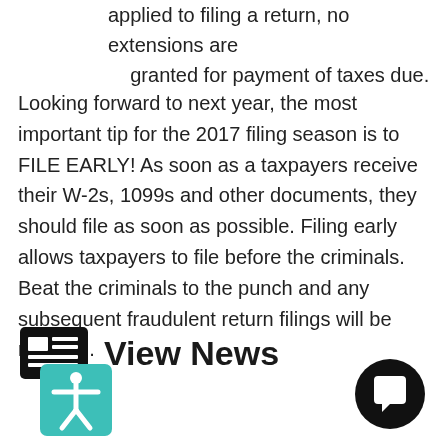applied to filing a return, no extensions are granted for payment of taxes due.
Looking forward to next year, the most important tip for the 2017 filing season is to FILE EARLY! As soon as a taxpayers receive their W-2s, 1099s and other documents, they should file as soon as possible. Filing early allows taxpayers to file before the criminals. Beat the criminals to the punch and any subsequent fraudulent return filings will be rejected.
View News
[Figure (illustration): Teal square accessibility icon with white person figure (arms outstretched)]
[Figure (illustration): Black circular chat/comment bubble icon]